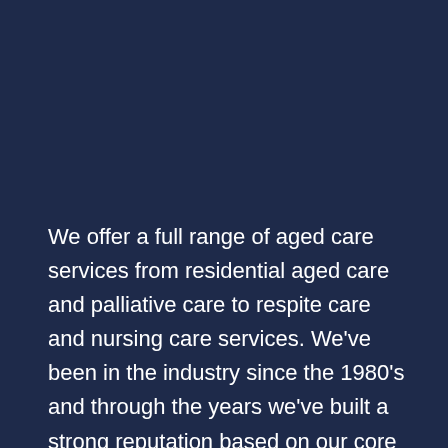We offer a full range of aged care services from residential aged care and palliative care to respite care and nursing care services. We've been in the industry since the 1980's and through the years we've built a strong reputation based on our core values